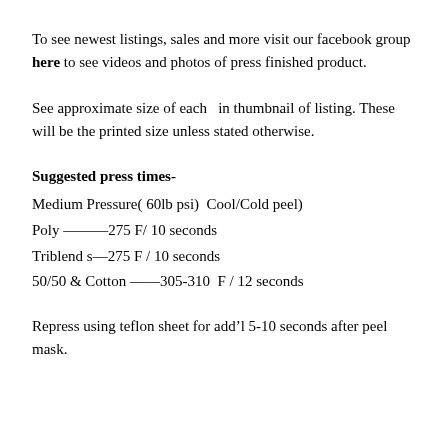To see newest listings, sales and more visit our facebook group here to see videos and photos of press finished product.
See approximate size of each  in thumbnail of listing. These will be the printed size unless stated otherwise.
Suggested press times-
Medium Pressure( 60lb psi)  Cool/Cold peel)
Poly ———275 F/ 10 seconds
Triblend s—275 F / 10 seconds
50/50 & Cotton ——305-310  F / 12 seconds
Repress using teflon sheet for add’l 5-10 seconds after peel mask.